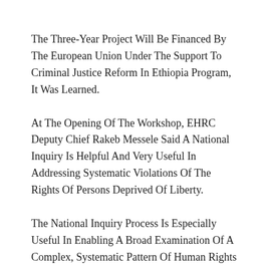The Three-Year Project Will Be Financed By The European Union Under The Support To Criminal Justice Reform In Ethiopia Program, It Was Learned.
At The Opening Of The Workshop, EHRC Deputy Chief Rakeb Messele Said A National Inquiry Is Helpful And Very Useful In Addressing Systematic Violations Of The Rights Of Persons Deprived Of Liberty.
The National Inquiry Process Is Especially Useful In Enabling A Broad Examination Of A Complex, Systematic Pattern Of Human Rights Violations, She Added.